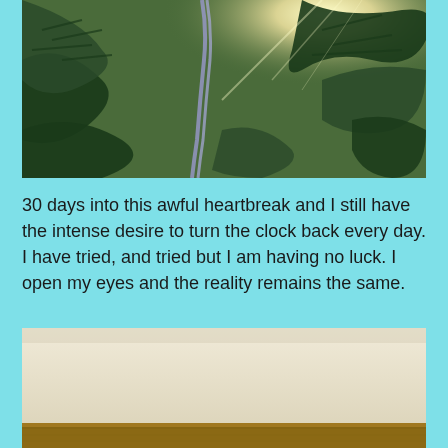[Figure (photo): Close-up photo of pine tree branches with light filtering through, showing green needles and bright light spots]
30 days into this awful heartbreak and I still have the intense desire to turn the clock back every day. I have tried, and tried but I am having no luck. I open my eyes and the reality remains the same.
[Figure (photo): Photo of a plain beige/cream ceiling with wooden furniture visible at the bottom edge]